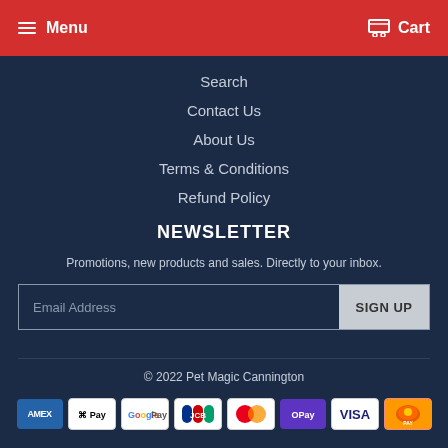Menu  Cart
Search
Contact Us
About Us
Terms & Conditions
Refund Policy
NEWSLETTER
Promotions, new products and sales. Directly to your inbox.
Email Address  SIGN UP
© 2022 Pet Magic Cannington
[Figure (other): Payment method icons: AMEX, Apple Pay, Google Pay, JCB, Mastercard, OPay, Visa, and one more payment provider]